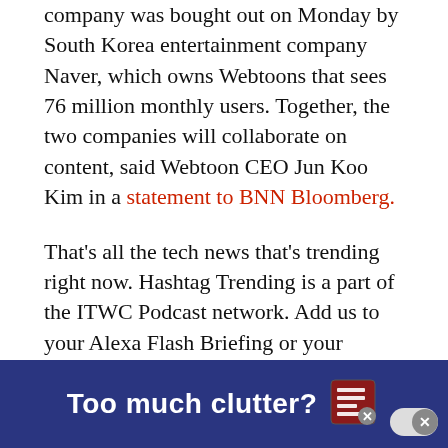company was bought out on Monday by South Korea entertainment company Naver, which owns Webtoons that sees 76 million monthly users. Together, the two companies will collaborate on content, said Webtoon CEO Jun Koo Kim in a statement to BNN Bloomberg.
That's all the tech news that's trending right now. Hashtag Trending is a part of the ITWC Podcast network. Add us to your Alexa Flash Briefing or your Google Home daily briefing. Make sure to sign up for our Daily IT Wire Newsletter to get all the news that matters directly in your inbox every day. Also, catch the next episode of Hashtag Tendances, our weekly Hashtag Trending episode in French, which drops every Friday at 8...
[Figure (other): Dark blue banner advertisement reading 'Too much clutter?' with a newspaper icon and a close button (X)]